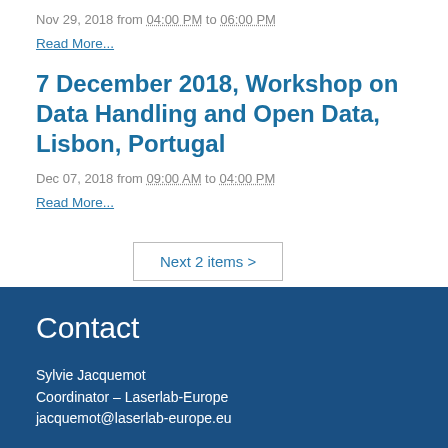Nov 29, 2018 from 04:00 PM to 06:00 PM
Read More...
7 December 2018, Workshop on Data Handling and Open Data, Lisbon, Portugal
Dec 07, 2018 from 09:00 AM to 04:00 PM
Read More...
Next 2 items >
Contact
Sylvie Jacquemot
Coordinator – Laserlab-Europe
jacquemot@laserlab-europe.eu